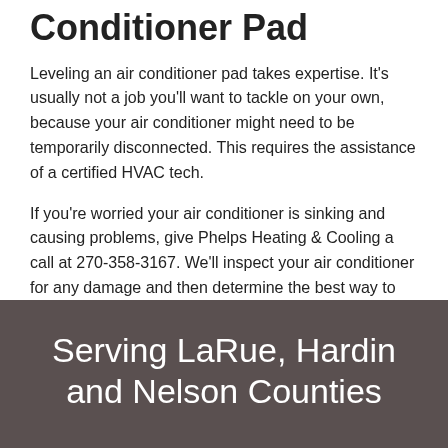Conditioner Pad
Leveling an air conditioner pad takes expertise. It’s usually not a job you’ll want to tackle on your own, because your air conditioner might need to be temporarily disconnected. This requires the assistance of a certified HVAC tech.
If you’re worried your air conditioner is sinking and causing problems, give Phelps Heating & Cooling a call at 270-358-3167. We’ll inspect your air conditioner for any damage and then determine the best way to level it.
Serving LaRue, Hardin and Nelson Counties